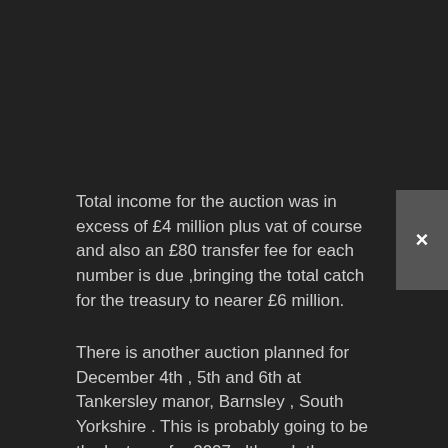Total income for the auction was in excess of £4 million plus vat of course and also an £80 transfer fee for each number is due ,bringing the total catch for the treasury to nearer £6 million.
There is another auction planned for December 4th , 5th and 6th at Tankersley manor, Barnsley , South Yorkshire . This is probably going to be the last one for 2007 although there have been occasional special sales around Christmas in the past , but these have been for a small number of very exclusive numbers expected to bring huge bids.
Free catalogues can be downloaded in PDF format from the DVLA sale of marks website , you can then pick which